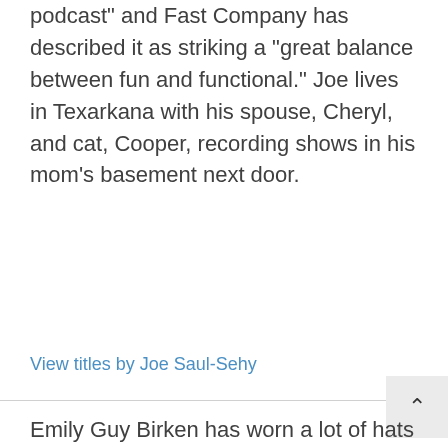podcast" and Fast Company has described it as striking a "great balance between fun and functional." Joe lives in Texarkana with his spouse, Cheryl, and cat, Cooper, recording shows in his mom's basement next door.
View titles by Joe Saul-Sehy
Emily Guy Birken has worn a lot of hats throughout her career: Temporary tattoo artist. Bookseller. Americorps volunteer. Teacher. Throughout